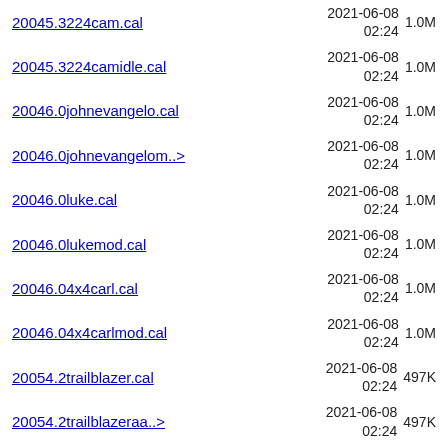20045.3224cam.cal  2021-06-08 02:24  1.0M
20045.3224camidle.cal  2021-06-08 02:24  1.0M
20046.0johnevangelo.cal  2021-06-08 02:24  1.0M
20046.0johnevangelom..>  2021-06-08 02:24  1.0M
20046.0luke.cal  2021-06-08 02:24  1.0M
20046.0lukemod.cal  2021-06-08 02:24  1.0M
20046.04x4carl.cal  2021-06-08 02:24  1.0M
20046.04x4carlmod.cal  2021-06-08 02:24  1.0M
20054.2trailblazer.cal  2021-06-08 02:24  497K
20054.2trailblazeraa..>  2021-06-08 02:24  497K
20054.2trailblazeraa..>  2021-06-08 02:24  497K
2021-06-08 ...